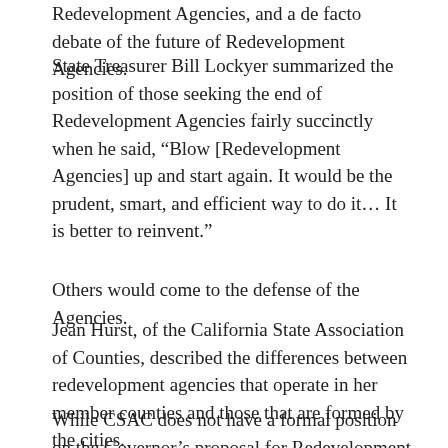Redevelopment Agencies, and a de facto debate of the future of Redevelopment Agencies.
State Treasurer Bill Lockyer summarized the position of those seeking the end of Redevelopment Agencies fairly succinctly when he said, “Blow [Redevelopment Agencies] up and start again. It would be the prudent, smart, and efficient way to do it… It is better to reinvent.”
Others would come to the defense of the Agencies.
Jean Hurst, of the California State Association of Counties, described the differences between redevelopment agencies that operate in her member counties and those that are formed by the cities.
While CSAC does not have a formal position on the Governor’s proposal for Redevelopment Agencies,